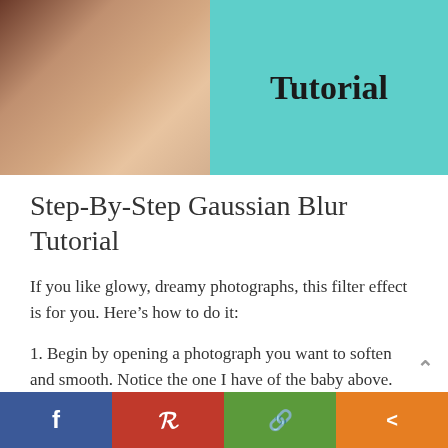[Figure (photo): Split hero image: left half shows a close-up photo of a baby's face/skin (warm brown tones), right half is a teal/mint colored panel with the word 'Tutorial' in bold black serif text]
Step-By-Step Gaussian Blur Tutorial
If you like glowy, dreamy photographs, this filter effect is for you. Here's how to do it:
1. Begin by opening a photograph you want to soften and smooth. Notice the one I have of the baby above.
2. At the top of your screen, go to "Layer"
[Figure (infographic): Social media share bar at bottom with four buttons: Facebook (blue), Pinterest (red), a link/copy icon (green), and a share icon (orange)]